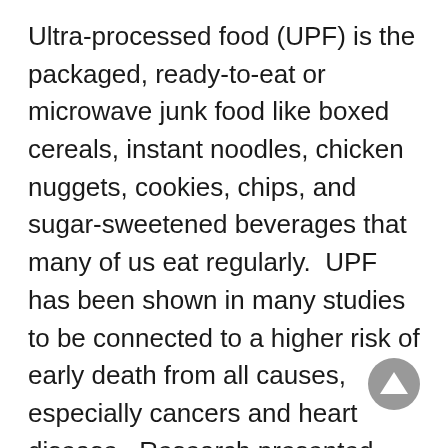Ultra-processed food (UPF) is the packaged, ready-to-eat or microwave junk food like boxed cereals, instant noodles, chicken nuggets, cookies, chips, and sugar-sweetened beverages that many of us eat regularly.  UPF has been shown in many studies to be connected to a higher risk of early death from all causes, especially cancers and heart disease.  Research presented this month at the European and International Conference on Obesity concluded that the more UPF you consume daily, the more likely you are to have shortened telomeres.  They studied almost 900 people and divided them into four groups, depending on how much UPF they consumed